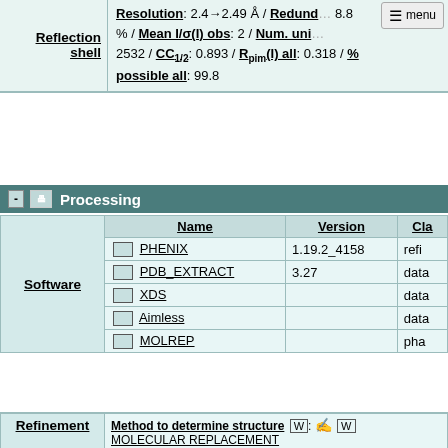| Reflection shell | Details |
| --- | --- |
| Reflection shell | Resolution: 2.4→2.49 Å / Redundancy: 8.8 % / Mean I/σ(I) obs: 2 / Num. unique obs: 2532 / CC1/2: 0.893 / Rpim(I) all: 0.318 / % possible all: 99.8 |
Processing
| Software | Name | Version | Classification |
| --- | --- | --- | --- |
| Software | PHENIX | 1.19.2_4158 | refi |
| Software | PDB_EXTRACT | 3.27 | data |
| Software | XDS |  | data |
| Software | Aimless |  | data |
| Software | MOLREP |  | pha |
Method to determine structure: MOLECULAR REPLACEMENT
Starting model: 4JF6 / Resolution: 2.4→38.97 Å / Cross valid method: THRO / σ(F): 1.36 / Phase error: 32. / Stereochemistry target valu
| Rfactor | Num. reflections |
| --- | --- |
Refinement